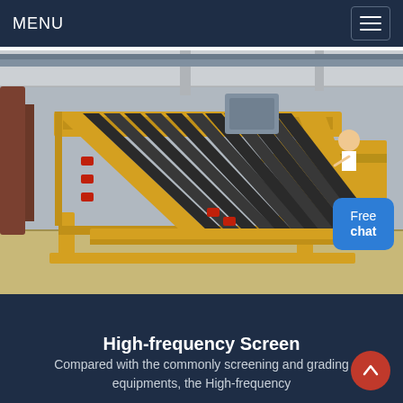MENU
[Figure (photo): A yellow high-frequency screen machine with inclined black screening panels mounted on a yellow metal frame stand, photographed in an industrial warehouse with overhead cranes visible in the background.]
High-frequency Screen
Compared with the commonly screening and grading equipments, the High-frequency